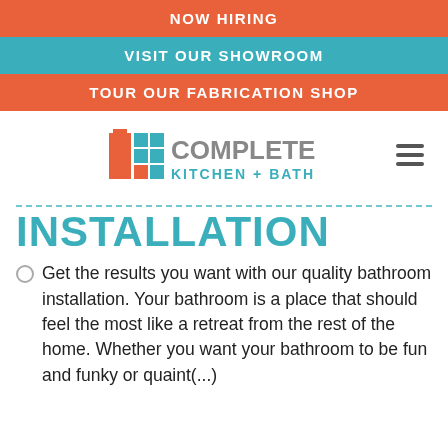NOW HIRING
VISIT OUR SHOWROOM
TOUR OUR FABRICATION SHOP
[Figure (logo): Complete Kitchen + Bath logo with orange and teal tile graphic]
INSTALLATION
Get the results you want with our quality bathroom installation. Your bathroom is a place that should feel the most like a retreat from the rest of the home. Whether you want your bathroom to be fun and funky or quaint(...)